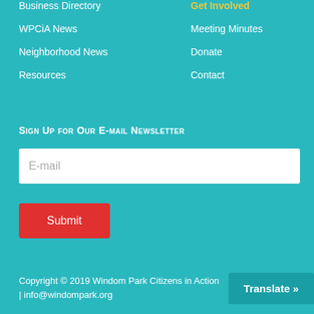Business Directory
WPCiA News
Neighborhood News
Resources
Get Involved
Meeting Minutes
Donate
Contact
Sign Up for Our E-mail Newsletter
E-mail
Submit
Copyright © 2019 Windom Park Citizens in Action | info@windompark.org
Translate »